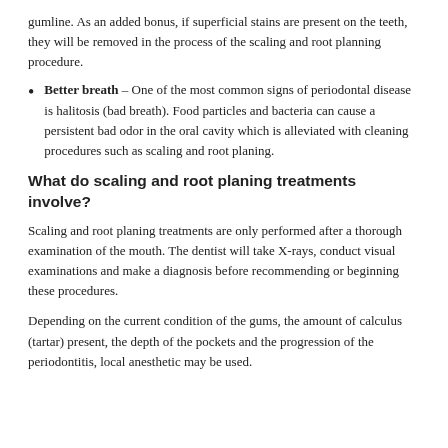gumline. As an added bonus, if superficial stains are present on the teeth, they will be removed in the process of the scaling and root planning procedure.
Better breath – One of the most common signs of periodontal disease is halitosis (bad breath). Food particles and bacteria can cause a persistent bad odor in the oral cavity which is alleviated with cleaning procedures such as scaling and root planing.
What do scaling and root planing treatments involve?
Scaling and root planing treatments are only performed after a thorough examination of the mouth. The dentist will take X-rays, conduct visual examinations and make a diagnosis before recommending or beginning these procedures.
Depending on the current condition of the gums, the amount of calculus (tartar) present, the depth of the pockets and the progression of the periodontitis, local anesthetic may be used.